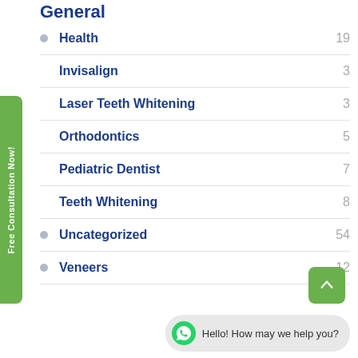General
Health 19
Invisalign 3
Laser Teeth Whitening 3
Orthodontics 5
Pediatric Dentist 7
Teeth Whitening 8
Uncategorized 54
Veneers 12
[Figure (other): Green scroll-to-top button with upward arrow]
Hello! How may we help you?